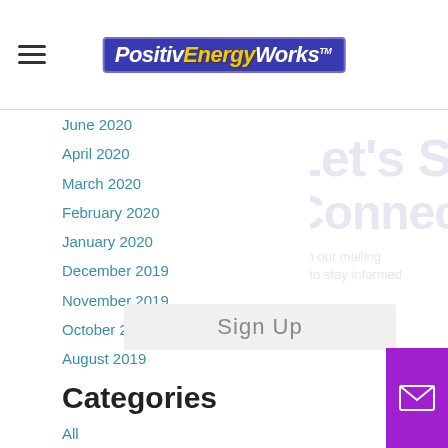PositivEnergyWorks
June 2020
April 2020
March 2020
February 2020
January 2020
December 2019
November 2019
October 2019
August 2019
July 2019
March 2019
February 2019
December 2018
August 2018
Categories
All